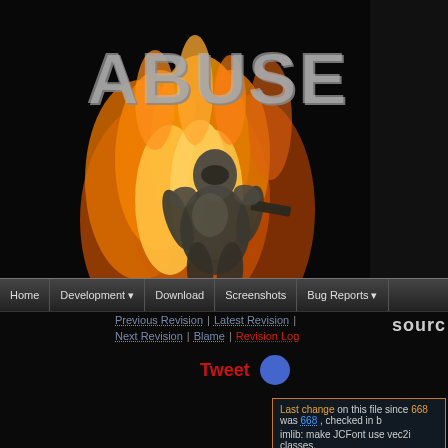[Figure (screenshot): Abuse game website banner with flame graphic and armored character on dark background]
Home | Development | Download | Screenshots | Bug Reports
Previous Revision | Latest Revision | Next Revision | Blame | Revision Log
source
Tweet
Last change on this file since 668 was 668, checked in b
imlib: make JCFont use vec2i classes.
File size: 12.4 KB
| Line |  |
| --- | --- |
| 1 | /* |
| 2 |  *  Abuse - dark 2D side-scrolling pl |
| 3 |  *  Copyright (c) 1995 Crack dot Com |
| 4 |  *  Copyright (c) 2005-2011 Sam Hocev |
| 5 |  * |
| 6 |  *  This software was released into t |
| 7 |  *  domain software, no warranty is m |
| 8 |  *  Jonathan Clark, or by Sam Hocevar |
| 9 |  */ |
| 10 |  |